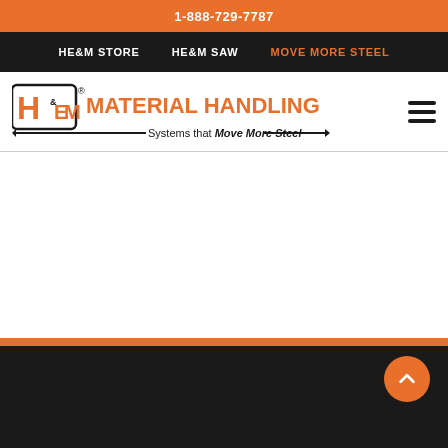1-888-729-7787
HE&M STORE  HE&M SAW  MOVE MORE STEEL
[Figure (logo): HE&M Material Handling logo with tagline: Systems that Move More Steel]